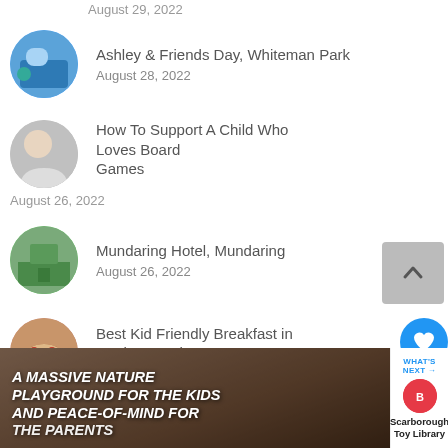August 29, 2022
Ashley & Friends Day, Whiteman Park
August 28, 2022
How To Support A Child Who Loves Board Games
August 26, 2022
Mundaring Hotel, Mundaring
August 26, 2022
Best Kid Friendly Breakfast in Perth – South
August 26, 2022
[Figure (photo): A nature playground banner image with text overlay: A MASSIVE NATURE PLAYGROUND FOR THE KIDS AND PEACE-OF-MIND FOR THE PARENTS]
WHAT'S NEXT → Scarborough Toy Library